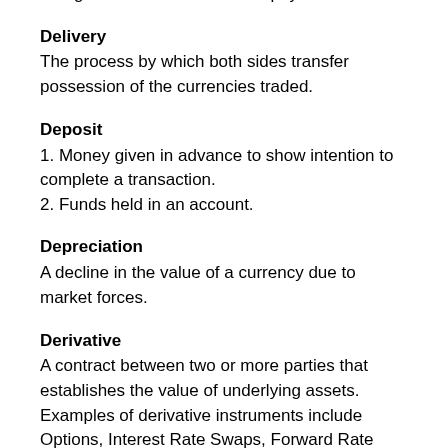A negative balance of trade or payments.
Delivery
The process by which both sides transfer possession of the currencies traded.
Deposit
1. Money given in advance to show intention to complete a transaction.
2. Funds held in an account.
Depreciation
A decline in the value of a currency due to market forces.
Derivative
A contract between two or more parties that establishes the value of underlying assets. Examples of derivative instruments include Options, Interest Rate Swaps, Forward Rate Agreements, Caps, Floors